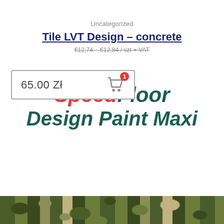Uncategorized
Tile LVT Design – concrete
65.00 Zł
€12,74 – €12,84 / szt + VAT
SpeedFloor Design Paint Maxi
[Figure (photo): Camouflage pattern image strip at the bottom of the page]